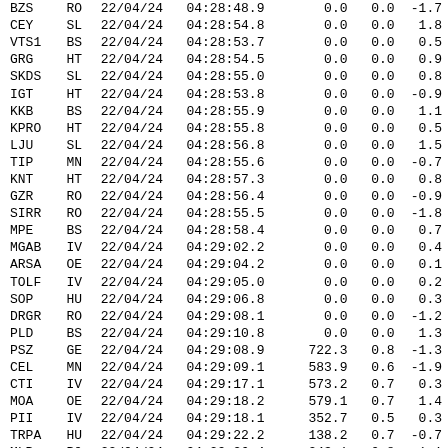| Symbol | Type | Date | Time | Val1 | Val2 | Val3 |
| --- | --- | --- | --- | --- | --- | --- |
| BZS | RO | 22/04/24 | 04:28:48.9 | 0.0 | 0.0 | -1.7 |
| CEY | SL | 22/04/24 | 04:28:54.8 | 0.0 | 0.0 | 1.8 |
| VTS1 | BS | 22/04/24 | 04:28:53.7 | 0.0 | 0.0 | 0.5 |
| GRG | HT | 22/04/24 | 04:28:54.5 | 0.0 | 0.0 | 0.9 |
| SKDS | SL | 22/04/24 | 04:28:55.0 | 0.0 | 0.0 | 0.8 |
| IGT | HT | 22/04/24 | 04:28:53.8 | 0.0 | 0.0 | -0.9 |
| KKB | BS | 22/04/24 | 04:28:55.9 | 0.0 | 0.0 | 1.1 |
| KPRO | HT | 22/04/24 | 04:28:55.8 | 0.0 | 0.0 | 0.5 |
| LJU | SL | 22/04/24 | 04:28:56.8 | 0.0 | 0.0 | 1.5 |
| TIP | MN | 22/04/24 | 04:28:55.6 | 0.0 | 0.0 | -0.7 |
| KNT | HT | 22/04/24 | 04:28:57.3 | 0.0 | 0.0 | 0.8 |
| GZR | RO | 22/04/24 | 04:28:56.4 | 0.0 | 0.0 | -0.9 |
| SIRR | RO | 22/04/24 | 04:28:55.5 | 0.0 | 0.0 | -1.8 |
| MPE | BS | 22/04/24 | 04:28:58.4 | 0.0 | 0.0 | 0.7 |
| MGAB | IV | 22/04/24 | 04:29:02.2 | 0.0 | 0.0 | 0.4 |
| ARSA | OE | 22/04/24 | 04:29:04.2 | 0.0 | 0.0 | 0.1 |
| TOLF | IV | 22/04/24 | 04:29:05.0 | 0.0 | 0.0 | 0.2 |
| SOP | HU | 22/04/24 | 04:29:06.8 | 0.0 | 0.0 | 0.3 |
| DRGR | RO | 22/04/24 | 04:29:08.1 | 0.0 | 0.0 | -1.2 |
| PLD | BS | 22/04/24 | 04:29:10.8 | 0.0 | 0.0 | 1.3 |
| PSZ | GE | 22/04/24 | 04:29:08.9 | 722.3 | 0.8 | -1.3 |
| CEL | MN | 22/04/24 | 04:29:09.1 | 583.9 | 0.6 | -1.9 |
| CTI | IV | 22/04/24 | 04:29:17.1 | 573.2 | 0.7 | 0.3 |
| MOA | OE | 22/04/24 | 04:29:18.2 | 579.1 | 0.7 | 1.4 |
| PII | IV | 22/04/24 | 04:29:18.1 | 352.7 | 0.5 | 0.3 |
| TRPA | HU | 22/04/24 | 04:29:22.2 | 138.2 | 0.7 | -0.7 |
| MLR | RO | 22/04/24 | 04:29:26.4 | 243.1 | 0.8 | 1.1 |
| MORC | GE | 22/04/24 | 04:29:33.3 | 167.1 | 0.8 | -0.4 |
| TIRR | GE | 22/04/24 | 04:29:45.4 | 116.0 | 0.9 | 0.1 |
| GRFO | IU | 22/04/24 | 04:29:53.7 | 247.7 | 0.8 | 0.3 |